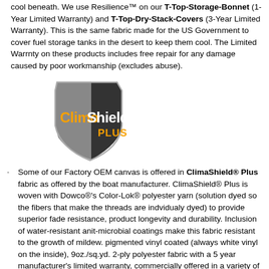cool beneath. We use Resilience™ on our T-Top-Storage-Bonnet (1-Year Limited Warranty) and T-Top-Dry-Stack-Covers (3-Year Limited Warranty). This is the same fabric made for the US Government to cover fuel storage tanks in the desert to keep them cool. The Limited Warrnty on these products includes free repair for any damage caused by poor workmanship (excludes abuse).
[Figure (logo): ClimaShield Plus logo — a grey and black shield with orange and white text reading 'ClimaShield PLUS']
Some of our Factory OEM canvas is offered in ClimaShield® Plus fabric as offered by the boat manufacturer. ClimaShield® Plus is woven with Dowco®'s Color-Lok® polyester yarn (solution dyed so the fibers that make the threads are indvidualy dyed) to provide superior fade resistance, product longevity and durability. Inclusion of water-resistant anit-microbial coatings make this fabric resistant to the growth of mildew. pigmented vinyl coated (always white vinyl on the inside), 9oz./sq.yd. 2-ply polyester fabric with a 5 year manufacturer's limited warranty, commercially offered in a variety of colors.
Poly/Cotton Duck ... 50/50 polyester/cotton